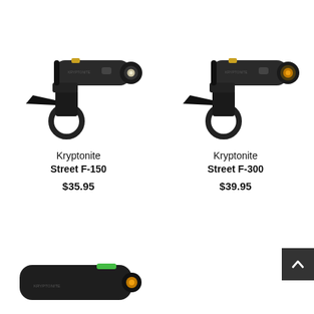[Figure (photo): Kryptonite Street F-150 bicycle headlight mounted on handlebar bracket, dark gray cylindrical body with LED lens, on white background]
Kryptonite
Street F-150
$35.95
[Figure (photo): Kryptonite Street F-300 bicycle headlight mounted on handlebar bracket, dark gray cylindrical body with amber-tinted LED lens, on white background]
Kryptonite
Street F-300
$39.95
[Figure (photo): Partial view of bicycle light product at bottom of page, dark colored with green accent, cropped]
[Figure (other): Back to top arrow button, dark gray square with white upward chevron arrow]